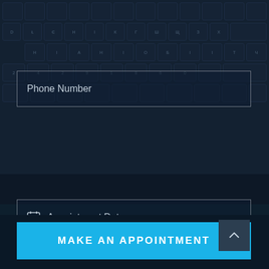[Figure (screenshot): Keyboard background image showing dark blue keyboard keys in a grid layout]
Phone Number
Appointment Date
How can we help?*
MAKE AN APPOINTMENT